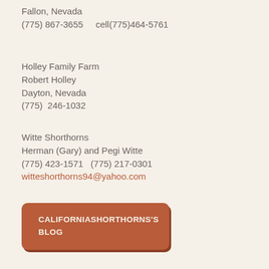Fallon, Nevada
(775) 867-3655    cell(775)464-5761
Holley Family Farm
Robert Holley
Dayton, Nevada
(775)  246-1032
Witte Shorthorns
Herman (Gary) and Pegi Witte
(775) 423-1571    (775) 217-0301
witteshorthorns94@yahoo.com
CALIFORNIASHORTHORNS'S BLOG